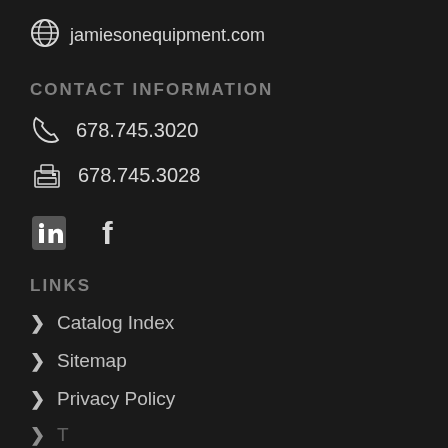jamiesonequipment.com
CONTACT INFORMATION
678.745.3020
678.745.3028
[Figure (other): LinkedIn and Facebook social media icons]
LINKS
Catalog Index
Sitemap
Privacy Policy
Terms of Service (partial)